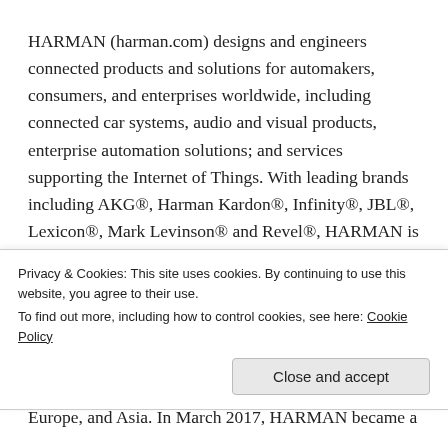HARMAN (harman.com) designs and engineers connected products and solutions for automakers, consumers, and enterprises worldwide, including connected car systems, audio and visual products, enterprise automation solutions; and services supporting the Internet of Things. With leading brands including AKG®, Harman Kardon®, Infinity®, JBL®, Lexicon®, Mark Levinson® and Revel®, HARMAN is admired by audiophiles, musicians and the entertainment venues where they perform around the world. More than 50 million automobiles on the road today are equipped with HARMAN audio and connected
Privacy & Cookies: This site uses cookies. By continuing to use this website, you agree to their use.
To find out more, including how to control cookies, see here: Cookie Policy
Europe, and Asia. In March 2017, HARMAN became a